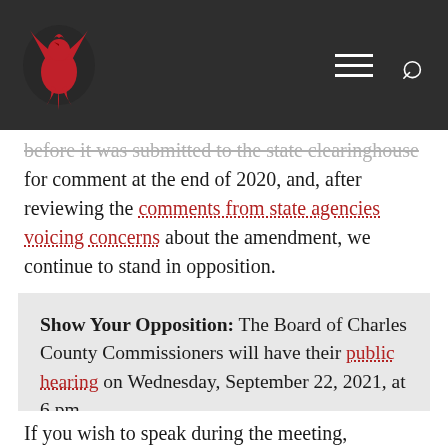[Logo: Phoenix/Bird mark] [Hamburger menu] [Search icon]
before it was submitted to the state clearinghouse for comment at the end of 2020, and, after reviewing the comments from state agencies voicing concerns about the amendment, we continue to stand in opposition.
Show Your Opposition: The Board of Charles County Commissioners will have their public hearing on Wednesday, September 22, 2021, at 6 pm.
SUBMIT A COMMENT
If you wish to speak during the meeting,